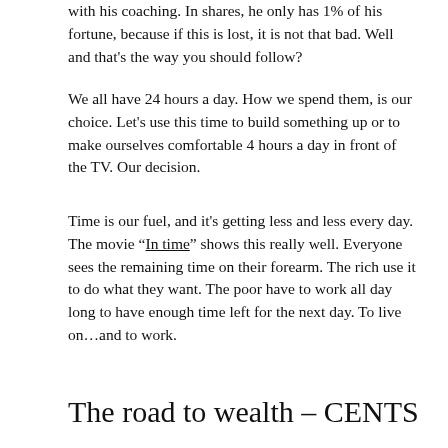with his coaching. In shares, he only has 1% of his fortune, because if this is lost, it is not that bad. Well and that's the way you should follow?
We all have 24 hours a day. How we spend them, is our choice. Let's use this time to build something up or to make ourselves comfortable 4 hours a day in front of the TV. Our decision.
Time is our fuel, and it's getting less and less every day. The movie “In time” shows this really well. Everyone sees the remaining time on their forearm. The rich use it to do what they want. The poor have to work all day long to have enough time left for the next day. To live on…and to work.
The road to wealth – CENTS